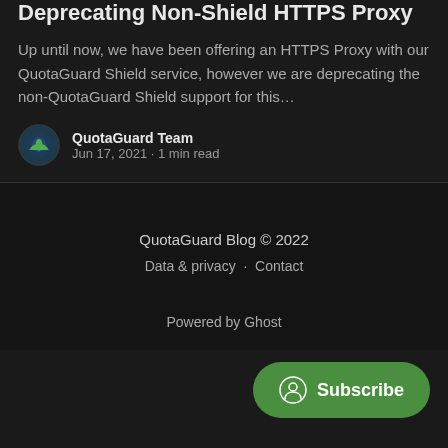Deprecating Non-Shield HTTPS Proxy
Up until now, we have been offering an HTTPS Proxy with our QuotaGuard Shield service, however we are deprecating the non-QuotaGuard Shield support for this…
QuotaGuard Team
Jun 17, 2021 • 1 min read
QuotaGuard Blog © 2022
Data & privacy · Contact
Powered by Ghost